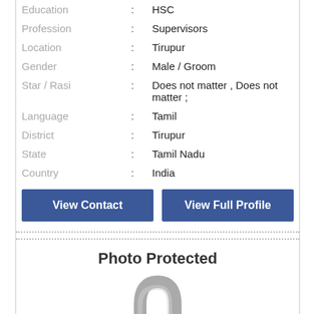| Education | : | HSC |
| Profession | : | Supervisors |
| Location | : | Tirupur |
| Gender | : | Male / Groom |
| Star / Rasi | : | Does not matter , Does not matter ; |
| Language | : | Tamil |
| District | : | Tirupur |
| State | : | Tamil Nadu |
| Country | : | India |
View Contact | View Full Profile
Photo Protected
[Figure (illustration): A padlock icon indicating photo is protected. The lock body is gold/orange and the shackle is silver/grey.]